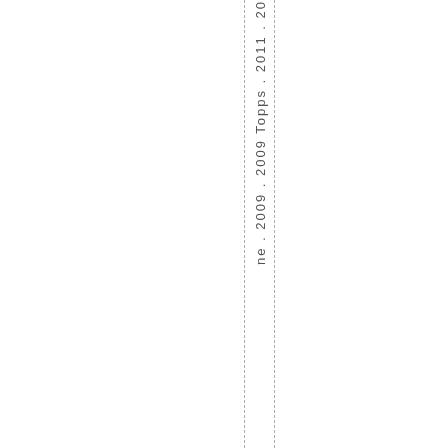ne. 2009. 2009 Topps. 2011. 20